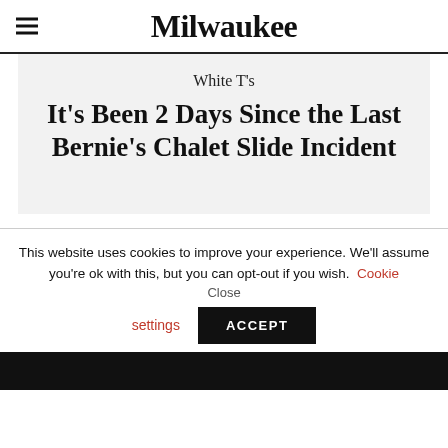Milwaukee
White T's
It's Been 2 Days Since the Last Bernie's Chalet Slide Incident
This website uses cookies to improve your experience. We'll assume you're ok with this, but you can opt-out if you wish. Cookie settings ACCEPT Close